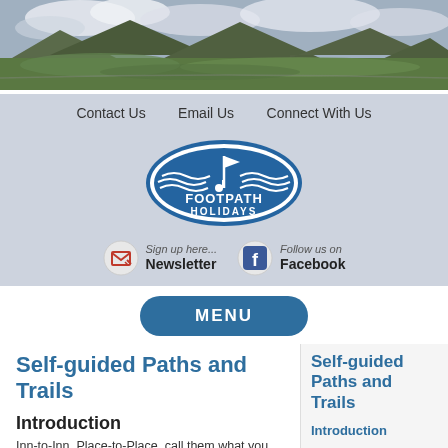[Figure (photo): Landscape photo showing green hills and mountains under a cloudy sky]
Contact Us   Email Us   Connect With Us
[Figure (logo): Footpath Holidays oval logo with flag and wave design, dark blue and white]
Sign up here... Newsletter   Follow us on Facebook
MENU
Self-guided Paths and Trails
Introduction
Inn-to-Inn, Place-to-Place, call them what you will, if you like...
Self-guided Paths and Trails
Introduction
Holiday Destinations